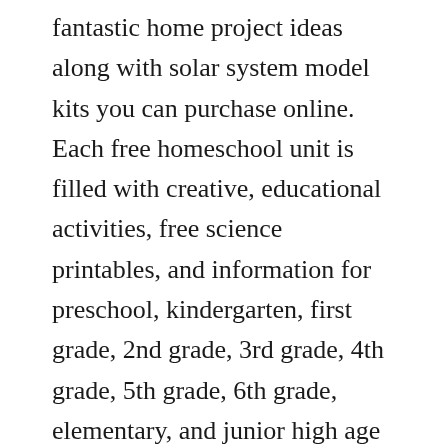fantastic home project ideas along with solar system model kits you can purchase online. Each free homeschool unit is filled with creative, educational activities, free science printables, and information for preschool, kindergarten, first grade, 2nd grade, 3rd grade, 4th grade, 5th grade, 6th grade, elementary, and junior high age kids. If you are in search of some interesting project ideas for senior school, you have come to the right place.
Mainly the dust accumalation on the solar panel will reduce its efficiency,theft of soalr